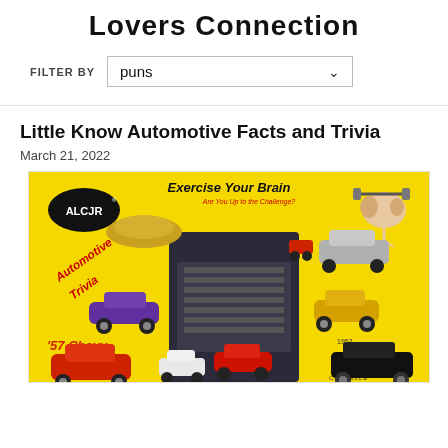Lovers Connection
FILTER BY  puns
Little Know Automotive Facts and Trivia
March 21, 2022
[Figure (illustration): Automotive Trivia promotional image with yellow background showing multiple classic and modern cars, 'Exercise Your Brain - Are You Up to the Challenge?' text, ALCJR logo, '57 Chevy label, 1957 Chevelle label, and a brain lifting weights illustration.]